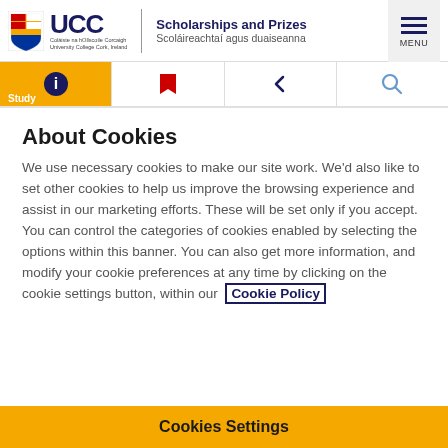UCC Scholarships and Prizes / Scoláireachtaí agus duaiseanna
About Cookies
We use necessary cookies to make our site work. We'd also like to set other cookies to help us improve the browsing experience and assist in our marketing efforts. These will be set only if you accept. You can control the categories of cookies enabled by selecting the options within this banner. You can also get more information, and modify your cookie preferences at any time by clicking on the cookie settings button, within our Cookie Policy
Cookies Settings